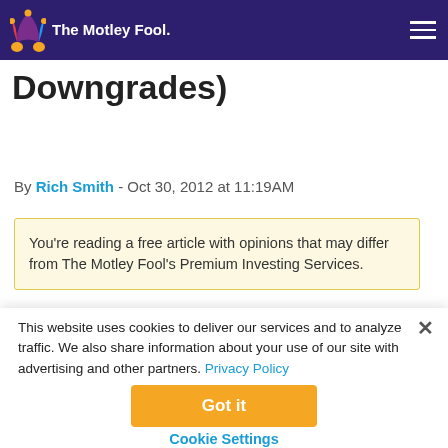The Motley Fool
Downgrades)
By Rich Smith - Oct 30, 2012 at 11:19AM
You’re reading a free article with opinions that may differ from The Motley Fool’s Premium Investing Services.
This website uses cookies to deliver our services and to analyze traffic. We also share information about your use of our site with advertising and other partners. Privacy Policy
Got it
Cookie Settings